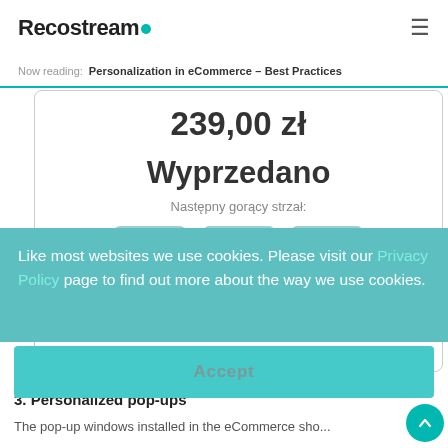Recostream
Now reading: Personalization in eCommerce – Best Practices
239,00 zł
Wyprzedano
Następny gorący strzał:
[Figure (other): Countdown timer showing 08 : 59 : 30 with labels godz. min. sek.]
Like most websites we use cookies. Please visit our Privacy Policy page to find out more about the way we use cookies.
Accept
3. Personalized pop-ups
The pop-up windows installed in the eCommerce sho...